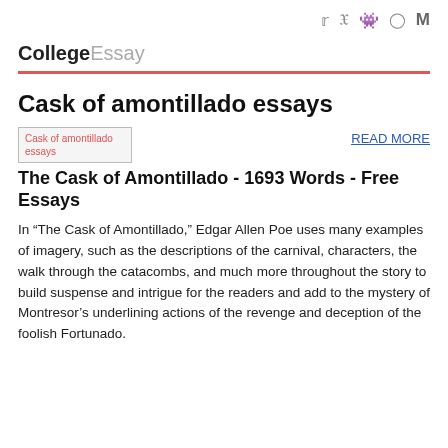Social icons: Twitter, Facebook, Snapchat, Instagram, Medium
CollegeEssay
Cask of amontillado essays
[Figure (other): Thumbnail image placeholder for Cask of amontillado essays]
READ MORE
The Cask of Amontillado - 1693 Words - Free Essays
In “The Cask of Amontillado,” Edgar Allen Poe uses many examples of imagery, such as the descriptions of the carnival, characters, the walk through the catacombs, and much more throughout the story to build suspense and intrigue for the readers and add to the mystery of Montresor’s underlining actions of the revenge and deception of the foolish Fortunado.